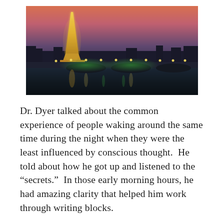[Figure (photo): Night photograph of the Eiffel Tower illuminated in gold/amber against a twilight sky with pink and purple hues, with the Seine River and a lit bridge (Pont de la Concorde area) in the foreground, city lights reflecting on the water.]
Dr. Dyer talked about the common experience of people waking around the same time during the night when they were the least influenced by conscious thought.  He told about how he got up and listened to the “secrets.”  In those early morning hours, he had amazing clarity that helped him work through writing blocks.